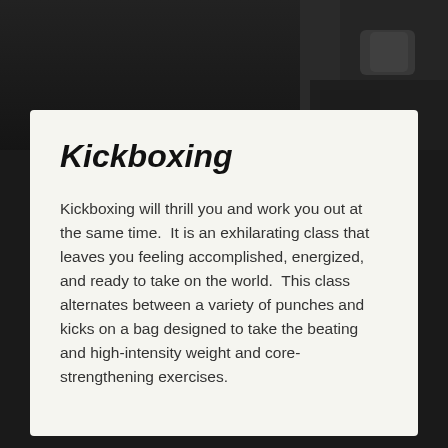[Figure (photo): Dark background photo showing a person (partial, lower body/hands visible) holding boxing gloves, set against a very dark background.]
Kickboxing
Kickboxing will thrill you and work you out at the same time.  It is an exhilarating class that leaves you feeling accomplished, energized, and ready to take on the world.  This class alternates between a variety of punches and kicks on a bag designed to take the beating and high-intensity weight and core-strengthening exercises.